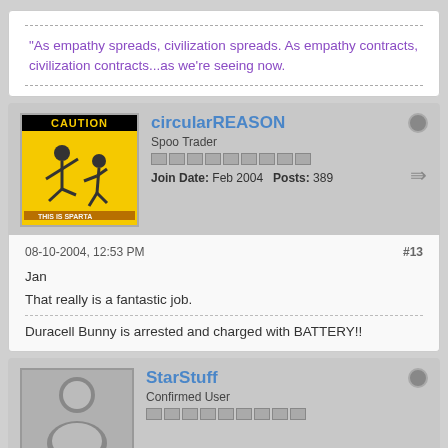"As empathy spreads, civilization spreads. As empathy contracts, civilization contracts...as we're seeing now.
circularREASON
Spoo Trader
Join Date: Feb 2004    Posts: 389
08-10-2004, 12:53 PM
#13
Jan
That really is a fantastic job.
Duracell Bunny is arrested and charged with BATTERY!!
StarStuff
Confirmed User